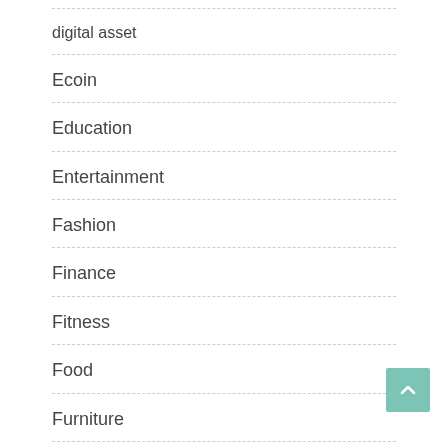digital asset
Ecoin
Education
Entertainment
Fashion
Finance
Fitness
Food
Furniture
Games
General